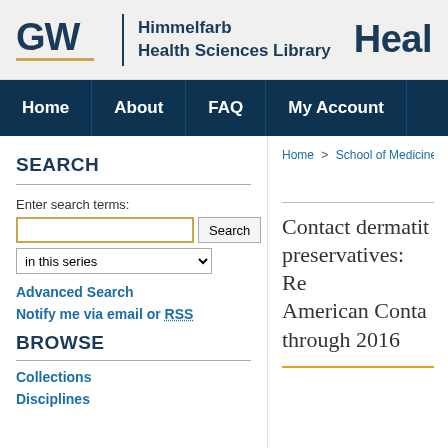GW | Himmelfarb Health Sciences Library | Heal
Home | About | FAQ | My Account
SEARCH
Enter search terms:
in this series
Advanced Search
Notify me via email or RSS
BROWSE
Collections
Disciplines
Home > School of Medicine and H
Contact dermatitis preservatives: Re American Contac through 2016